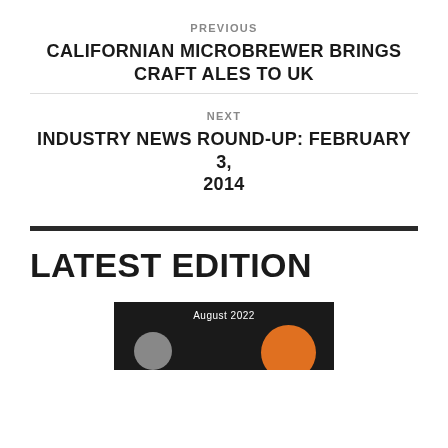PREVIOUS
CALIFORNIAN MICROBREWER BRINGS CRAFT ALES TO UK
NEXT
INDUSTRY NEWS ROUND-UP: FEBRUARY 3, 2014
LATEST EDITION
[Figure (photo): Magazine cover image showing August 2022 edition with an orange circular element against a dark background]